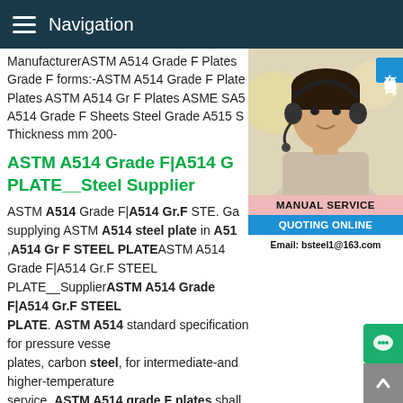Navigation
ManufacturerASTM A514 Grade F Plates Grade F forms:-ASTM A514 Grade F Plates ASTM A514 Gr F Plates ASME SA514 Grade F Sheets Steel Grade A515 S Thickness mm 200-
ASTM A514 Grade F|A514 G PLATE__Steel Supplier
[Figure (photo): Customer service representative woman wearing headset, with Chinese text badge '在线咨询' (Online Consultation), MANUAL SERVICE label, QUOTING ONLINE button, Email: bsteel1@163.com]
ASTM A514 Grade F|A514 Gr.F STE. Gangsteel specializing supplying ASTM A514 steel plate in A514 ,A514 Gr F STEEL PLATEASTM A514 Grade F|A514 Gr.F STEEL PLATE__Steel SupplierASTM A514 Grade F|A514 Gr.F STEEL PLATE. ASTM A514 standard specification for pressure vessel plates, carbon steel, for intermediate-and higher-temperature service. ASTM A514 grade F plates shall be normalized. Gangsteel is specialized in supplying ASTM A514 steel plate